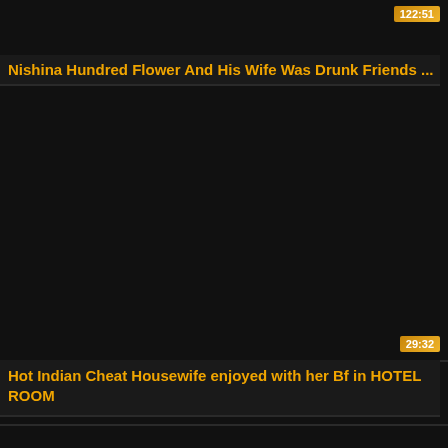[Figure (screenshot): Video thumbnail card 1 - dark/black thumbnail with duration badge 122:51 in top right corner]
Nishina Hundred Flower And His Wife Was Drunk Friends ...
[Figure (screenshot): Video thumbnail card 2 - large dark/black thumbnail with duration badge 29:32 in bottom right corner]
Hot Indian Cheat Housewife enjoyed with her Bf in HOTEL ROOM
[Figure (screenshot): Video thumbnail card 3 - dark/black thumbnail, partially visible at bottom]